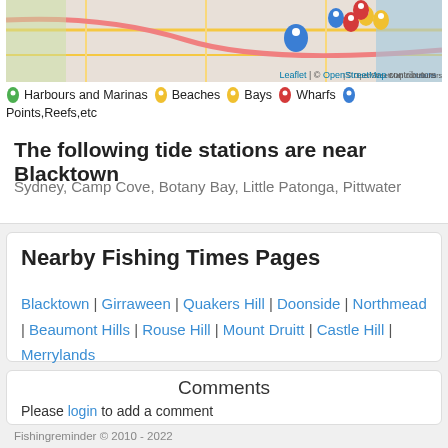[Figure (map): Map showing coastal area near Blacktown, Australia with colored pins for Harbours and Marinas (green), Beaches (yellow), Bays (yellow), Wharfs (red), Points/Reefs etc (blue). Map credit: Leaflet | © OpenStreetMap contributors.]
Harbours and Marinas | Beaches | Bays | Wharfs | Points,Reefs,etc
The following tide stations are near Blacktown
Sydney, Camp Cove, Botany Bay, Little Patonga, Pittwater
Nearby Fishing Times Pages
Blacktown | Girraween | Quakers Hill | Doonside | Northmead | Beaumont Hills | Rouse Hill | Mount Druitt | Castle Hill | Merrylands
Comments
Please login to add a comment
Fishingreminder © 2010 - 2022